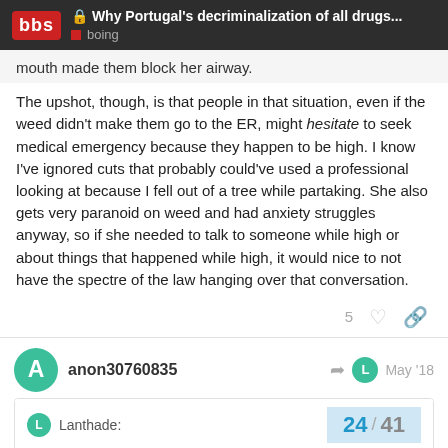Why Portugal's decriminalization of all drugs... boing
mouth made them block her airway.
The upshot, though, is that people in that situation, even if the weed didn't make them go to the ER, might hesitate to seek medical emergency because they happen to be high. I know I've ignored cuts that probably could've used a professional looking at because I fell out of a tree while partaking. She also gets very paranoid on weed and had anxiety struggles anyway, so if she needed to talk to someone while high or about things that happened while high, it would nice to not have the spectre of the law hanging over that conversation.
5
anon30760835
May '18
Lanthade:
24 / 41